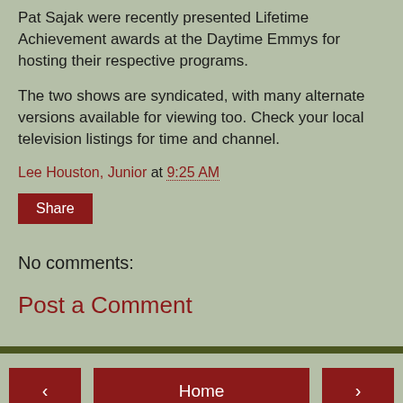Pat Sajak were recently presented Lifetime Achievement awards at the Daytime Emmys for hosting their respective programs.
The two shows are syndicated, with many alternate versions available for viewing too. Check your local television listings for time and channel.
Lee Houston, Junior at 9:25 AM
Share
No comments:
Post a Comment
Home
View web version
Powered by Blogger.